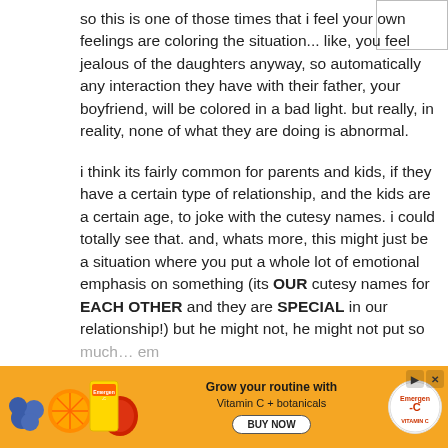so this is one of those times that i feel your own feelings are coloring the situation... like, you feel jealous of the daughters anyway, so automatically any interaction they have with their father, your boyfriend, will be colored in a bad light. but really, in reality, none of what they are doing is abnormal.

i think its fairly common for parents and kids, if they have a certain type of relationship, and the kids are a certain age, to joke with the cutesy names. i could totally see that. and, whats more, this might just be a situation where you put a whole lot of emotional emphasis on something (its OUR cutesy names for EACH OTHER and they are SPECIAL in our relationship!) but he might not, he might not put so much... em with...
[Figure (other): Emergen-C advertisement banner with orange background, product images on left, text 'Grow your routine with Vitamin C + botanicals', BUY NOW button, and Emergen-C logo]